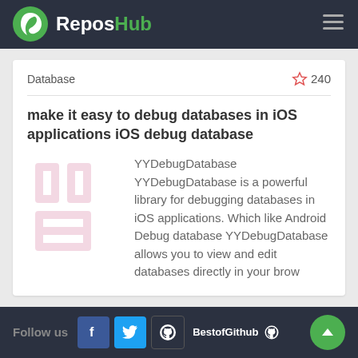ReposHub
Database
240
make it easy to debug databases in iOS applications iOS debug database
YYDebugDatabase YYDebugDatabase is a powerful library for debugging databases in iOS applications. Which like Android Debug database YYDebugDatabase allows you to view and edit databases directly in your brow
Follow us  BestofGithub